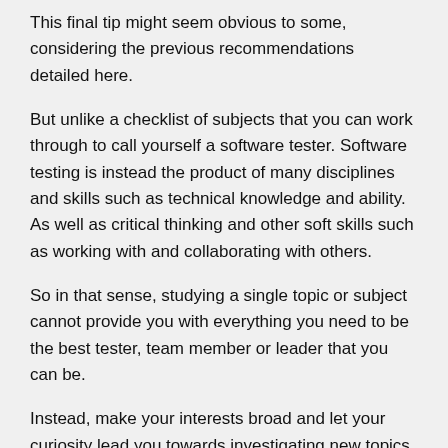This final tip might seem obvious to some, considering the previous recommendations detailed here.
But unlike a checklist of subjects that you can work through to call yourself a software tester. Software testing is instead the product of many disciplines and skills such as technical knowledge and ability. As well as critical thinking and other soft skills such as working with and collaborating with others.
So in that sense, studying a single topic or subject cannot provide you with everything you need to be the best tester, team member or leader that you can be.
Instead, make your interests broad and let your curiosity lead you towards investigating new topics.
I hope you find these tips useful.